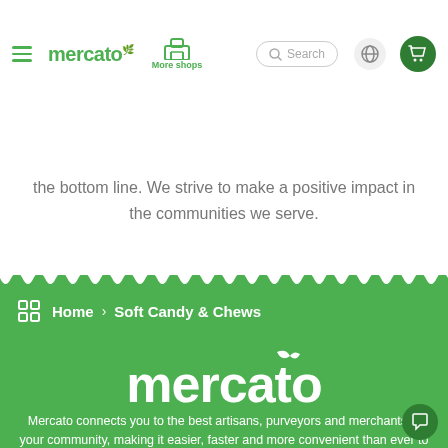mercato | More shops | Search | globe | cart
the bottom line. We strive to make a positive impact in the communities we serve.
Home > Soft Candy & Chews
[Figure (logo): Mercato logo in white on green background with leaf accent]
Mercato connects you to the best artisans, purveyors and merchants in your community, making it easier, faster and more convenient than ever to get the best food - delivered. Powered by SPINS.